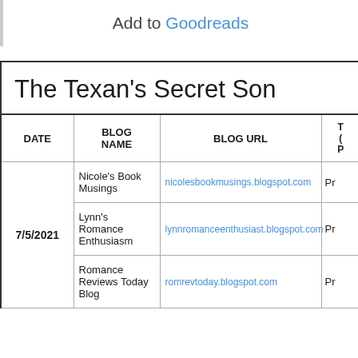Add to Goodreads
The Texan's Secret Son
| DATE | BLOG NAME | BLOG URL | T... (P...) |
| --- | --- | --- | --- |
|  | Nicole's Book Musings | nicolesbookmusings.blogspot.com | Pr |
| 7/5/2021 | Lynn's Romance Enthusiasm | lynnromanceenthusiast.blogspot.com | Pr |
|  | Romance Reviews Today Blog | romrevtoday.blogspot.com | Pr |